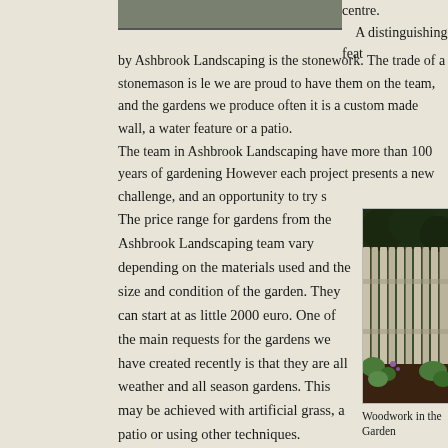[Figure (photo): Partial view of a landscaping/garden photo at top of page]
centre.
A distinguishing feat
by Ashbrook Landscaping is the stonework. The trade of a stonemason is le we are proud to have them on the team, and the gardens we produce often it is a custom made wall, a water feature or a patio.
The team in Ashbrook Landscaping have more than 100 years of gardening However each project presents a new challenge, and an opportunity to try s
The price range for gardens from the Ashbrook Landscaping team vary depending on the materials used and the size and condition of the garden. They can start at as little 2000 euro. One of the main requests for the gardens we have created recently is that they are all weather and all season gardens. This may be achieved with artificial grass, a patio or using other techniques.
We have travelled the length and breadth of the country creating dream gardens for our customer, and we are happy to do so. If you would like a
[Figure (photo): Photo of a wooden fence/panel in a garden with dark soil and green plants]
Woodwork in the Garden